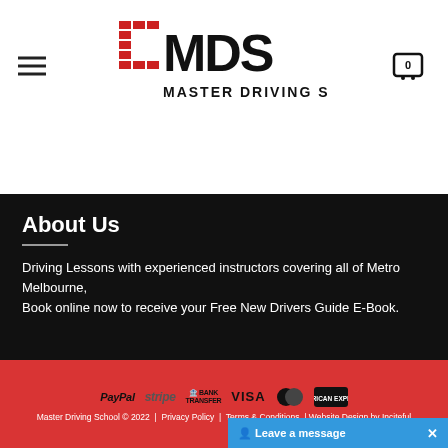[Figure (logo): MDS Master Driving School logo with red and black text, hamburger menu icon on left, cart icon on right]
About Us
Driving Lessons with experienced instructors covering all of Metro Melbourne, Book online now to receive your Free New Drivers Guide E-Book.
PayPal | stripe | BANK TRANSFER | VISA | Mastercard | AMERICAN EXPRESS | Master Driving School © 2022 | Privacy Policy | Terms & Conditions | Website Design by Inciteful